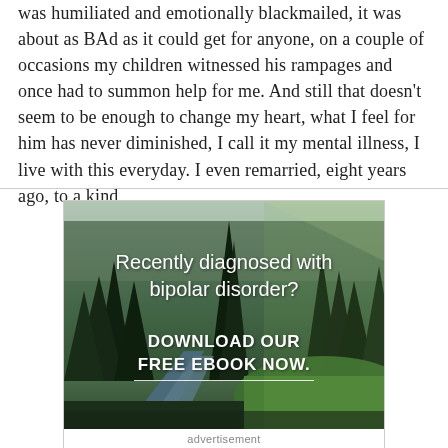was humiliated and emotionally blackmailed, it was about as BAd as it could get for anyone, on a couple of occasions my children witnessed his rampages and once had to summon help for me. And still that doesn't seem to be enough to change my heart, what I feel for him has never diminished, I call it my mental illness, I live with this everyday. I even remarried, eight years ago, to a kind
[Figure (photo): Forest scene with trees, a stream/path, and green grass. Overlay text reads 'Recently diagnosed with bipolar disorder?' and 'DOWNLOAD OUR FREE EBOOK NOW.' with a horizontal underline. Advertisement banner.]
advertisement